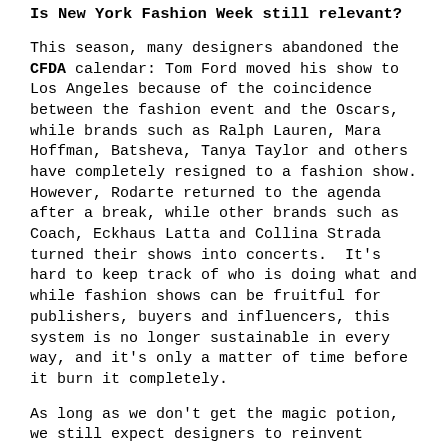Is New York Fashion Week still relevant?
This season, many designers abandoned the CFDA calendar: Tom Ford moved his show to Los Angeles because of the coincidence between the fashion event and the Oscars, while brands such as Ralph Lauren, Mara Hoffman, Batsheva, Tanya Taylor and others have completely resigned to a fashion show. However, Rodarte returned to the agenda after a break, while other brands such as Coach, Eckhaus Latta and Collina Strada turned their shows into concerts.  It's hard to keep track of who is doing what and while fashion shows can be fruitful for publishers, buyers and influencers, this system is no longer sustainable in every way, and it's only a matter of time before it burn it completely.
As long as we don't get the magic potion, we still expect designers to reinvent themselves every six months, something quite unrealistic. In fact, it is not unrealistic, it is irresponsible. The constant flow of the new, the new